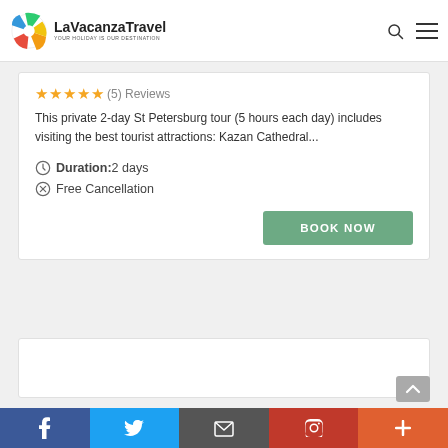[Figure (logo): LaVacanzaTravel logo with colorful pinwheel/map icon and text 'LaVacanza Travel - YOUR HOLIDAY IS OUR DESTINATION']
(5) Reviews
This private 2-day St Petersburg tour (5 hours each day) includes visiting the best tourist attractions: Kazan Cathedral...
Duration:2 days
Free Cancellation
[Figure (screenshot): Empty white card area below the tour listing card]
BOOK NOW